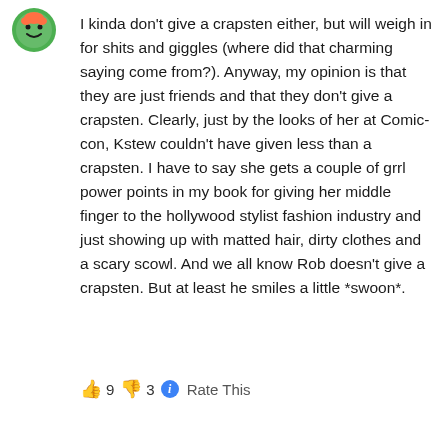[Figure (illustration): Small cartoon avatar icon in the top-left corner]
I kinda don't give a crapsten either, but will weigh in for shits and giggles (where did that charming saying come from?). Anyway, my opinion is that they are just friends and that they don't give a crapsten. Clearly, just by the looks of her at Comic-con, Kstew couldn't have given less than a crapsten. I have to say she gets a couple of grrl power points in my book for giving her middle finger to the hollywood stylist fashion industry and just showing up with matted hair, dirty clothes and a scary scowl. And we all know Rob doesn't give a crapsten. But at least he smiles a little *swoon*.
👍 9 👎 3 ℹ Rate This